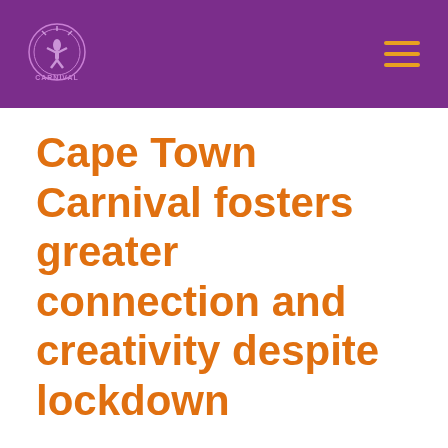Cape Town Carnival
Cape Town Carnival fosters greater connection and creativity despite lockdown
by carni_admin | Jun 6, 2020 | News | 0 comments